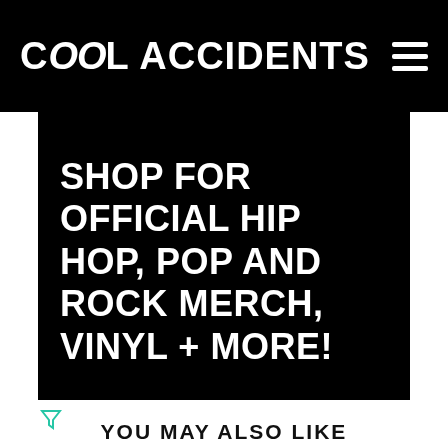Cool Accidents
[Figure (screenshot): Advertisement banner: black rectangle with white bold uppercase text reading 'SHOP FOR OFFICIAL HIP HOP, POP AND ROCK MERCH, VINYL + MORE!']
YOU MAY ALSO LIKE
[Figure (screenshot): BitLife mobile game advertisement with 'FAIL' text, cartoon character, fire graphics, BitLife logo and 'START A NEW LIFE' tagline on red/orange background]